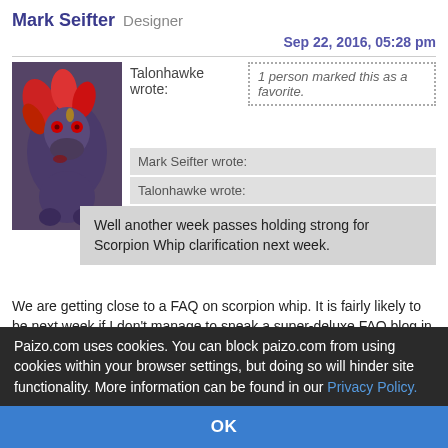Mark Seifter Designer
Sep 22, 2016, 05:28 pm
Talonhawke wrote:
1 person marked this as a favorite.
Mark Seifter wrote:
Talonhawke wrote:
Well another week passes holding strong for Scorpion Whip clarification next week.
We are getting close to a FAQ on scorpion whip. It is fairly likely to be next week if I don't manage to sneak a super-deluxe FAQ blog in there (which is unlikely to happen, but surprisingly possible).
Been over a year and I just thought about this did we ever get that FAQ?
Paizo.com uses cookies. You can block paizo.com from using cookies within your browser settings, but doing so will hinder site functionality. More information can be found in our Privacy Policy.
OK